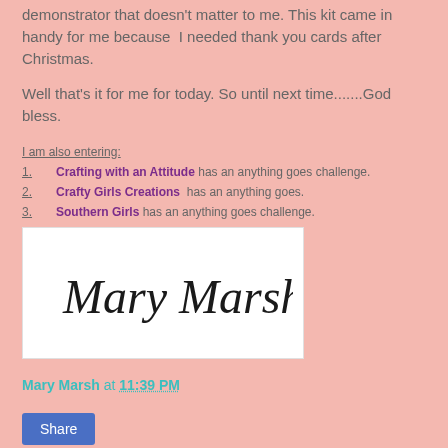demonstrator that doesn't matter to me. This kit came in handy for me because  I needed thank you cards after Christmas.
Well that's it for me for today. So until next time.......God bless.
I am also entering:
1. Crafting with an Attitude has an anything goes challenge.
2. Crafty Girls Creations  has an anything goes.
3. Southern Girls has an anything goes challenge.
[Figure (illustration): Handwritten cursive signature reading 'Mary Marsh' on white background]
Mary Marsh at 11:39 PM
Share